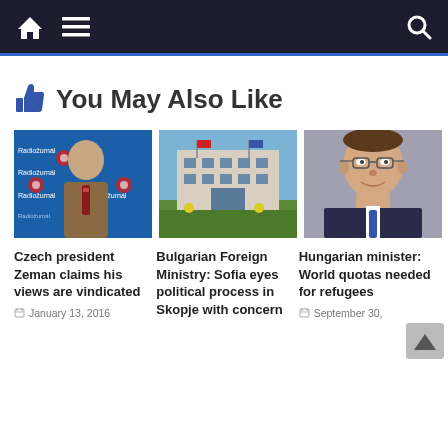Navigation bar with home, menu, and search icons
👍 You May Also Like
[Figure (photo): Photo of Czech president Zeman at Radiozurnal press event]
Czech president Zeman claims his views are vindicated
January 13, 2016
[Figure (photo): Photo of Bulgarian Foreign Ministry building in Sofia]
Bulgarian Foreign Ministry: Sofia eyes political process in Skopje with concern
[Figure (photo): Photo of Hungarian minister headshot]
Hungarian minister: World quotas needed for refugees
September 30,